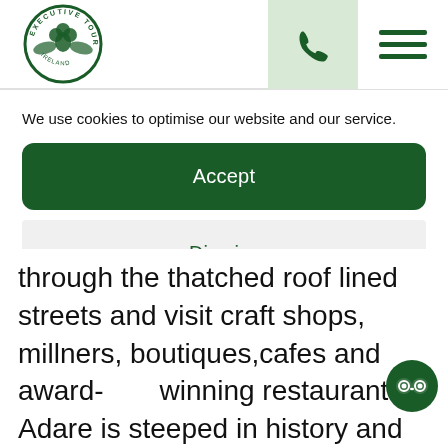[Figure (logo): Executive Tours circular logo with shamrock and eagle design in green]
[Figure (illustration): Phone handset icon on light green background]
[Figure (illustration): Hamburger menu icon with three horizontal green lines]
We use cookies to optimise our website and our service.
Accept
Dismiss
Preferences
Cookie Policy   Privacy Policy
through the thatched roof lined streets and visit craft shops, millners, boutiques,cafes and award-winning restaurants. Adare is steeped in history and